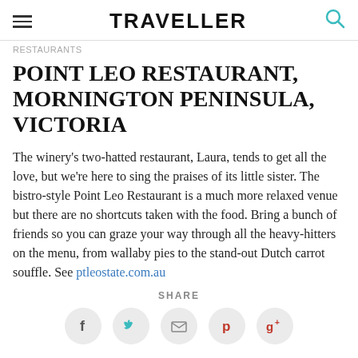TRAVELLER
RESTAURANTS
POINT LEO RESTAURANT, MORNINGTON PENINSULA, VICTORIA
The winery's two-hatted restaurant, Laura, tends to get all the love, but we're here to sing the praises of its little sister. The bistro-style Point Leo Restaurant is a much more relaxed venue but there are no shortcuts taken with the food. Bring a bunch of friends so you can graze your way through all the heavy-hitters on the menu, from wallaby pies to the stand-out Dutch carrot souffle. See ptleostate.com.au
SHARE